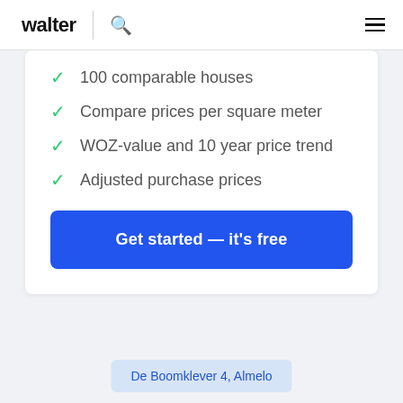walter
100 comparable houses
Compare prices per square meter
WOZ-value and 10 year price trend
Adjusted purchase prices
Get started — it's free
De Boomklever 4, Almelo